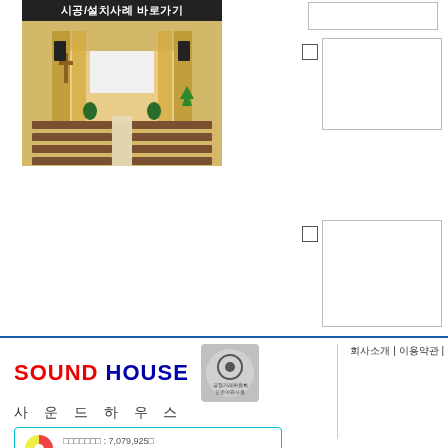[Figure (photo): Korean church interior photo with banner text '시공/설치사례 바로가기' (Go to construction/installation cases). Shows pews, stage, cross, speakers, and projection screen.]
[Figure (other): Two checkbox UI elements with bordered boxes on the right side of the page]
SOUND HOUSE 사운드하우스 | 누적판매건수: 7,079,925건 | 상품: 1,384만 | 회원수: 2,025만 | 회사소개 | 이용약관 |